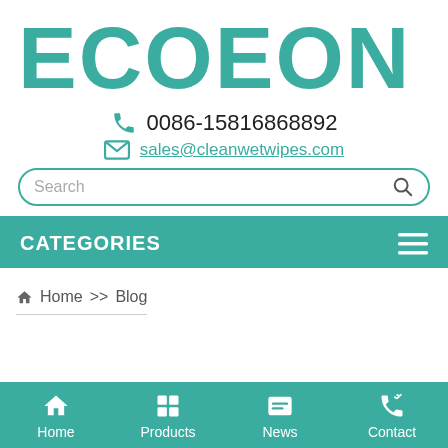ECOEON
0086-15816868892
sales@cleanwetwipes.com
Search
CATEGORIES
Home >> Blog
Home  Products  News  Contact